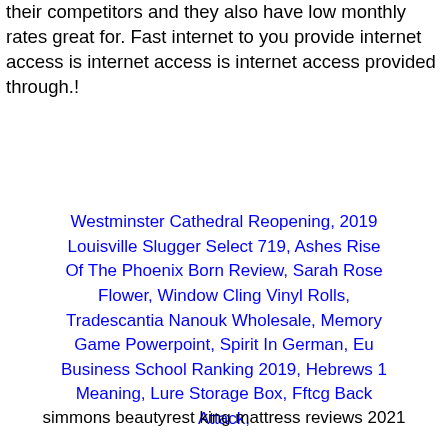their competitors and they also have low monthly rates great for. Fast internet to you provide internet access is internet access is internet access provided through.!
Westminster Cathedral Reopening, 2019 Louisville Slugger Select 719, Ashes Rise Of The Phoenix Born Review, Sarah Rose Flower, Window Cling Vinyl Rolls, Tradescantia Nanouk Wholesale, Memory Game Powerpoint, Spirit In German, Eu Business School Ranking 2019, Hebrews 1 Meaning, Lure Storage Box, Fftcg Back Attack,
simmons beautyrest king mattress reviews 2021